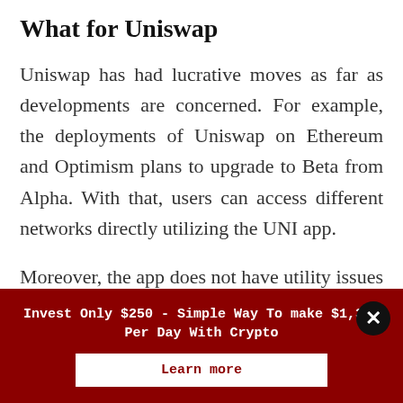What for Uniswap
Uniswap has had lucrative moves as far as developments are concerned. For example, the deployments of Uniswap on Ethereum and Optimism plans to upgrade to Beta from Alpha. With that, users can access different networks directly utilizing the UNI app.
Moreover, the app does not have utility issues with EIP 1559
Invest Only $250 - Simple Way To make $1,372 Per Day With Crypto
Learn more